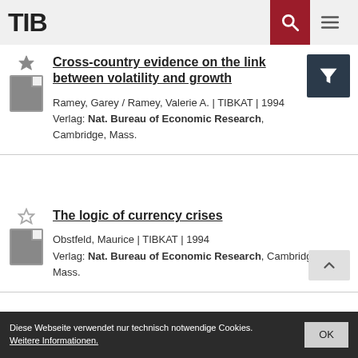TIB
Cross-country evidence on the link between volatility and growth
Ramey, Garey / Ramey, Valerie A. | TIBKAT | 1994
Verlag: Nat. Bureau of Economic Research, Cambridge, Mass.
The logic of currency crises
Obstfeld, Maurice | TIBKAT | 1994
Verlag: Nat. Bureau of Economic Research, Cambridge, Mass.
Diese Webseite verwendet nur technisch notwendige Cookies. Weitere Informationen. OK